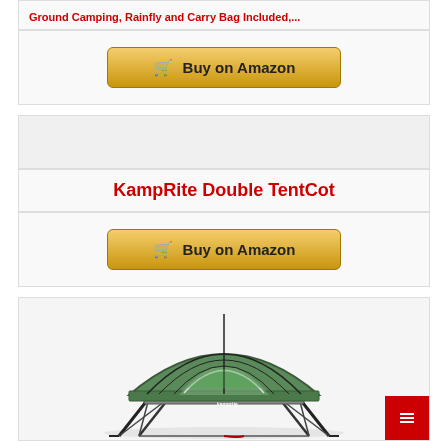Ground Camping, Rainfly and Carry Bag Included,...
Buy on Amazon
[Figure (other): Empty gray area placeholder]
KampRite Double TentCot
Buy on Amazon
[Figure (photo): KampRite Double TentCot product photo showing a green elevated tent-cot structure with folding legs and mesh windows, on white background]